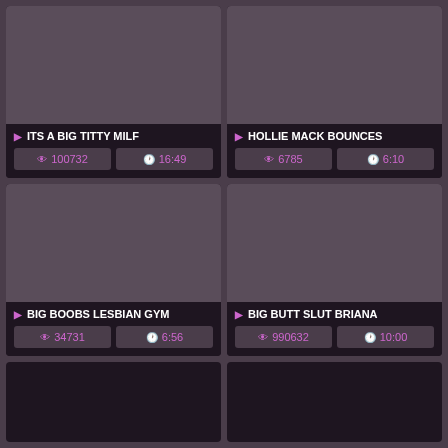[Figure (screenshot): Video thumbnail placeholder (dark purple/grey rectangle)]
ITS A BIG TITTY MILF
👁 100732   🕐 16:49
[Figure (screenshot): Video thumbnail placeholder (dark purple/grey rectangle)]
HOLLIE MACK BOUNCES
👁 6785   🕐 6:10
[Figure (screenshot): Video thumbnail placeholder (dark purple/grey rectangle)]
BIG BOOBS LESBIAN GYM
👁 34731   🕐 6:56
[Figure (screenshot): Video thumbnail placeholder (dark purple/grey rectangle)]
BIG BUTT SLUT BRIANA
👁 990632   🕐 10:00